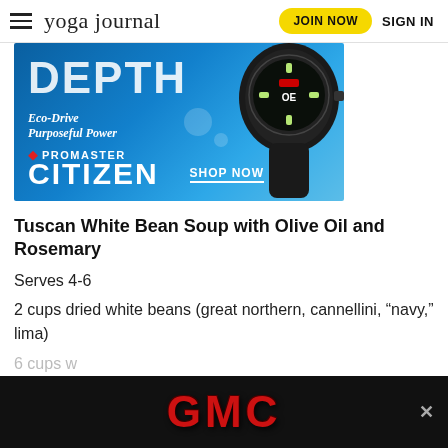yoga journal | JOIN NOW | SIGN IN
[Figure (photo): Citizen Promaster watch advertisement with blue underwater background, text: DEPTH, Eco-Drive Purposeful Power, PROMASTER, CITIZEN, SHOP NOW]
Tuscan White Bean Soup with Olive Oil and Rosemary
Serves 4-6
2 cups dried white beans (great northern, cannellini, “navy,” lima)
6 cups w...
[Figure (photo): GMC advertisement banner at bottom of page with red chrome GMC logo on black background and close (x) button]